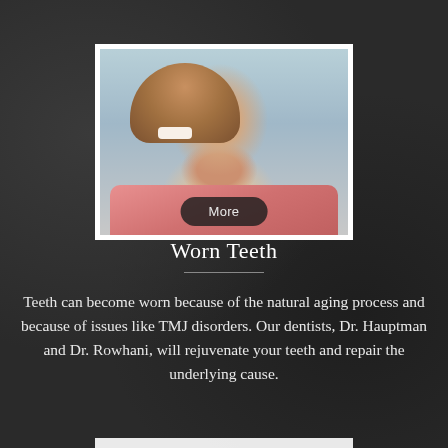[Figure (photo): Photo of a smiling middle-aged woman with short brown hair wearing a pink shirt, shown against a light background. A dark rounded 'More' button overlay appears at the bottom of the image.]
Worn Teeth
Teeth can become worn because of the natural aging process and because of issues like TMJ disorders. Our dentists, Dr. Hauptman and Dr. Rowhani, will rejuvenate your teeth and repair the underlying cause.